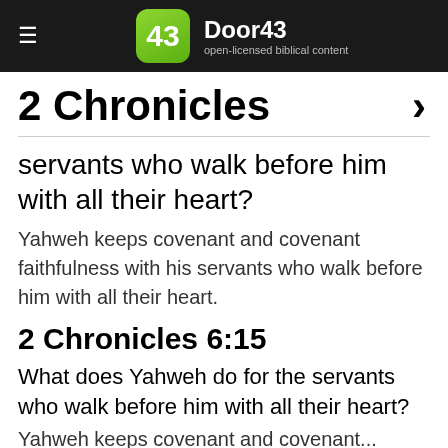Door43 open-licensed biblical content
2 Chronicles
servants who walk before him with all their heart?
Yahweh keeps covenant and covenant faithfulness with his servants who walk before him with all their heart.
2 Chronicles 6:15
What does Yahweh do for the servants who walk before him with all their heart?
Yahweh keeps covenant and covenant...